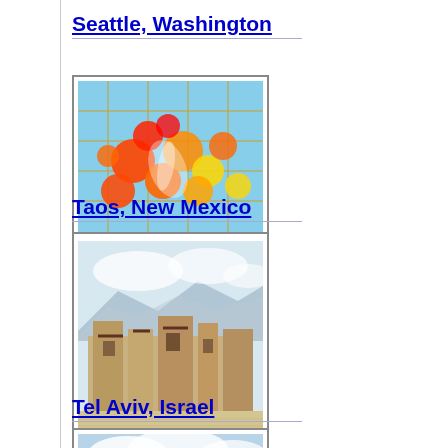Seattle, Washington
[Figure (photo): Photo of colorful Chihuly glass art installation with orange, red, and yellow glass spheres against a blue sky ceiling with gold grid lines]
Taos, New Mexico
[Figure (photo): Photo of Taos Pueblo adobe ruins with wooden poles/vigas, sandy ground, and mountains with clouds in the background]
Tel Aviv, Israel
[Figure (photo): Photo of Tel Aviv city skyline with modern buildings and trees in the foreground under a cloudy sky]